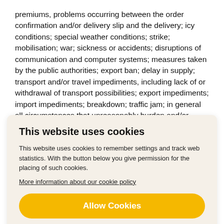premiums, problems occurring between the order confirmation and/or delivery slip and the delivery; icy conditions; special weather conditions; strike; mobilisation; war; sickness or accidents; disruptions of communication and computer systems; measures taken by the public authorities; export ban; delay in supply; transport and/or travel impediments, including lack of or withdrawal of transport possibilities; export impediments; import impediments; breakdown; traffic jam; in general all circumstances that unreasonably burden and/or make impossible the execution of the agreement for BAGINCO.
This website uses cookies
This website uses cookies to remember settings and track web statistics. With the button below you give permission for the placing of such cookies.
More information about our cookie policy
Allow Cookies
Block cookies
16. INVOICE AND PAYMENT
16.1 The Customer should report its complaints regarding invoices should be paid in accordance with the instructions that invoice from...